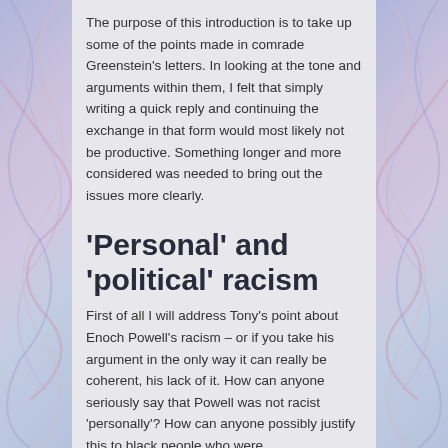The purpose of this introduction is to take up some of the points made in comrade Greenstein's letters. In looking at the tone and arguments within them, I felt that simply writing a quick reply and continuing the exchange in that form would most likely not be productive. Something longer and more considered was needed to bring out the issues more clearly.
‘Personal’ and ‘political’ racism
First of all I will address Tony’s point about Enoch Powell’s racism – or if you take his argument in the only way it can really be coherent, his lack of it. How can anyone seriously say that Powell was not racist ‘personally’? How can anyone possibly justify this to black people who were